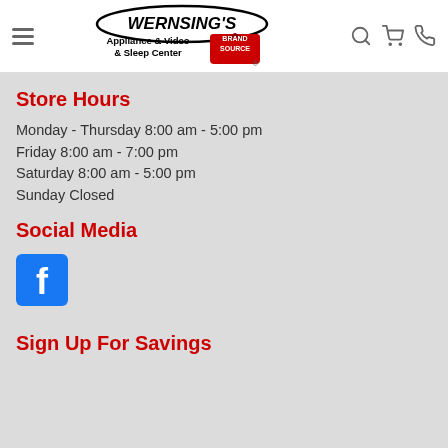Wernsing's Appliance & Video & Sleep Center — Brand Source
Store Hours
Monday - Thursday 8:00 am - 5:00 pm
Friday 8:00 am - 7:00 pm
Saturday 8:00 am - 5:00 pm
Sunday Closed
Social Media
[Figure (logo): Facebook logo icon — blue square with white lowercase 'f']
Sign Up For Savings